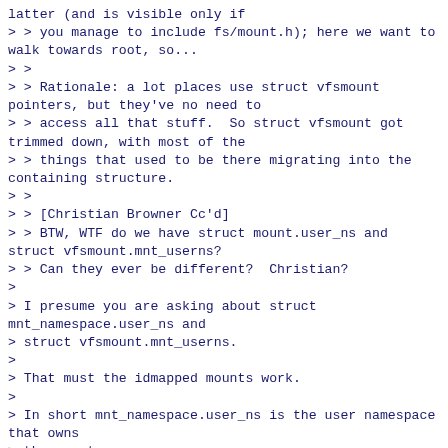latter (and is visible only if
> > you manage to include fs/mount.h); here we want to walk towards root, so...
> >
> > Rationale: a lot places use struct vfsmount pointers, but they've no need to
> > access all that stuff.  So struct vfsmount got trimmed down, with most of the
> > things that used to be there migrating into the containing structure.
> >
> > [Christian Browner Cc'd]
> > BTW, WTF do we have struct mount.user_ns and struct vfsmount.mnt_userns?
> > Can they ever be different?  Christian?
>
> I presume you are asking about struct mnt_namespace.user_ns and
> struct vfsmount.mnt_userns.
>
> That must the idmapped mounts work.
>
> In short mnt_namespace.user_ns is the user namespace that owns
> the mount namespace.
>
> vfsmount.mnt_userns functionally could be reduced to just some struct
> uid_gid_map structures hanging off the vfsmount.
It's purpose is